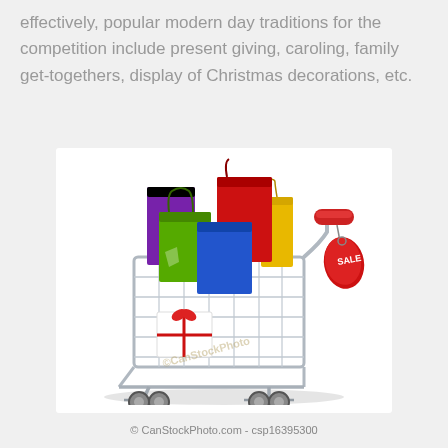effectively, popular modern day traditions for the competition include present giving, caroling, family get-togethers, display of Christmas decorations, etc.
[Figure (illustration): A shopping cart filled with colorful shopping bags (red, purple, green, blue, yellow) and wrapped Christmas gifts with red bows. A red 'SALE' price tag hangs from the cart handle. The cart has a metallic frame with black wheels.]
© CanStockPhoto.com - csp16395300